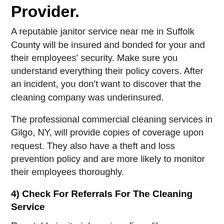Provider.
A reputable janitor service near me in Suffolk County will be insured and bonded for your and their employees' security. Make sure you understand everything their policy covers. After an incident, you don't want to discover that the cleaning company was underinsured.
The professional commercial cleaning services in Gilgo, NY, will provide copies of coverage upon request. They also have a theft and loss prevention policy and are more likely to monitor their employees thoroughly.
4) Check For Referrals For The Cleaning Service
Reputable janitorial services firms like